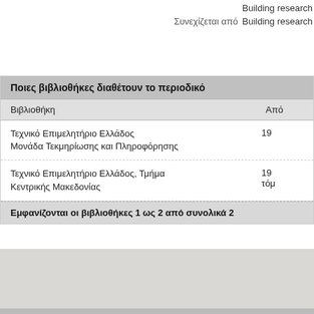Building research
Συνεχίζεται από   Building research
| Ποιες βιβλιοθήκες διαθέτουν το περιοδικό |  |
| --- | --- |
| Βιβλιοθήκη | Από |
| Τεχνικό Επιμελητήριο Ελλάδος
Μονάδα Τεκμηρίωσης και Πληροφόρησης | 19 |
| Τεχνικό Επιμελητήριο Ελλάδος, Τμήμα
Κεντρικής Μακεδονίας | 19
τόμ |
| Εμφανίζονται οι βιβλιοθήκες 1 ως 2 από συνολικά 2 |  |
Επιστρο